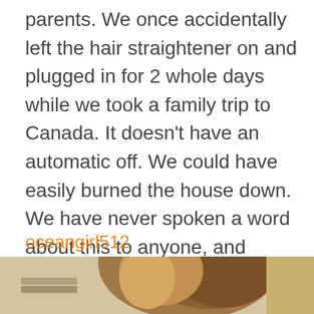parents. We once accidentally left the hair straightener on and plugged in for 2 whole days while we took a family trip to Canada. It doesn't have an automatic off. We could have easily burned the house down. We have never spoken a word about this to anyone, and never will.
oceangirl512
[Figure (photo): Bottom portion of a person with long hair, cropped to show only the top of the head/hair against a light background]